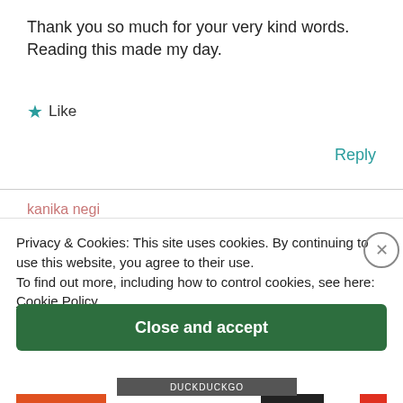Thank you so much for your very kind words. Reading this made my day.
★ Like
Reply
kanika negi
October 24, 2016 at 10:12 am
Privacy & Cookies: This site uses cookies. By continuing to use this website, you agree to their use. To find out more, including how to control cookies, see here: Cookie Policy
Close and accept